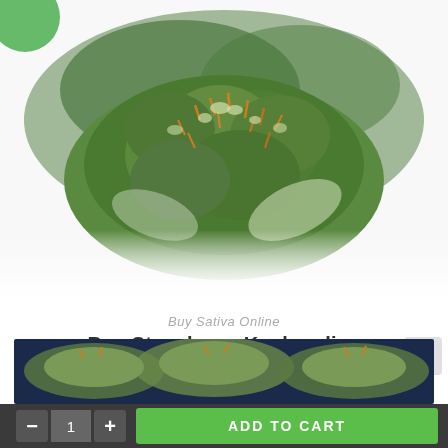[Figure (photo): Close-up photo of cannabis bud (Strawberry Kush) with green and orange coloring on white background]
Buy Sativa Online
Buy Strawberry Kush online
$50.00 – $1,700.00
Select options
[Figure (photo): Partial view of another cannabis product photo at the bottom of the page]
- 1 + ADD TO CART